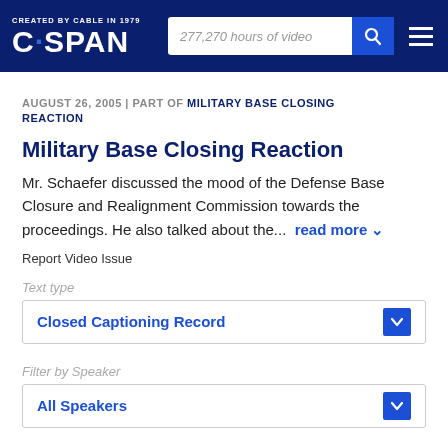CREATED BY CABLE IN 1979 C·SPAN — 277,270 hours of video
AUGUST 26, 2005 | PART OF MILITARY BASE CLOSING REACTION
Military Base Closing Reaction
Mr. Schaefer discussed the mood of the Defense Base Closure and Realignment Commission towards the proceedings. He also talked about the... read more
Report Video Issue
Text type
Closed Captioning Record
Filter by Speaker
All Speakers